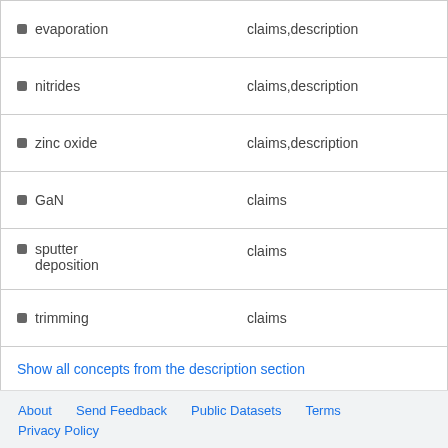| Concept | Source |
| --- | --- |
| evaporation | claims,description |
| nitrides | claims,description |
| zinc oxide | claims,description |
| GaN | claims |
| sputter deposition | claims |
| trimming | claims |
Show all concepts from the description section
Data provided by IFI CLAIMS Patent Services
About   Send Feedback   Public Datasets   Terms   Privacy Policy